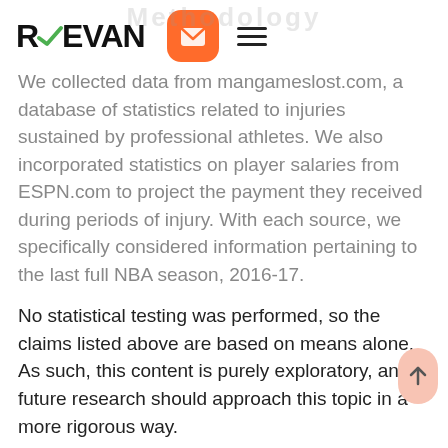REEVAN
We collected data from mangameslost.com, a database of statistics related to injuries sustained by professional athletes. We also incorporated statistics on player salaries from ESPN.com to project the payment they received during periods of injury. With each source, we specifically considered information pertaining to the last full NBA season, 2016-17.
No statistical testing was performed, so the claims listed above are based on means alone. As such, this content is purely exploratory, and future research should approach this topic in a more rigorous way.
Fair Use Statement